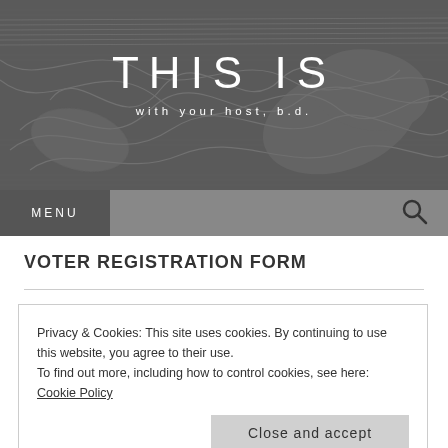[Figure (illustration): Dark grey abstract artistic banner with swirling line patterns, featuring the text 'THIS IS' in large white letters and 'with your host, b.d.' in smaller white text below]
THIS IS
with your host, b.d.
VOTER REGISTRATION FORM
Privacy & Cookies: This site uses cookies. By continuing to use this website, you agree to their use.
To find out more, including how to control cookies, see here: Cookie Policy
Close and accept